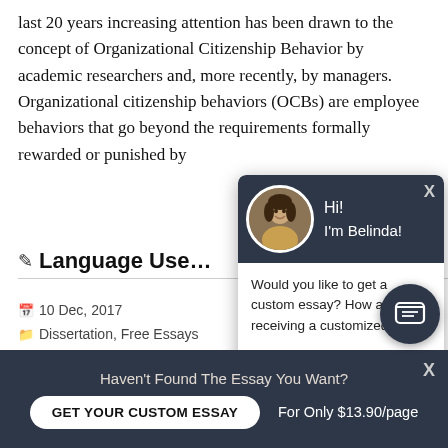last 20 years increasing attention has been drawn to the concept of Organizational Citizenship Behavior by academic researchers and, more recently, by managers. Organizational citizenship behaviors (OCBs) are employee behaviors that go beyond the requirements formally rewarded or punished by
Language Use
10 Dec, 2017
Dissertation, Free Essays
0
LANGUAGE USE IN THAILAND: A COMPARATI
[Figure (screenshot): Chat popup with avatar of Belinda, greeting 'Hi! I'm Belinda!' and message 'Would you like to get a custom essay? How about receiving a customized one?' with a 'Check it out' link]
[Figure (screenshot): Messenger/chat icon button, dark circular button with chat bubble icon]
Haven't Found The Essay You Want?
GET YOUR CUSTOM ESSAY
For Only $13.90/page